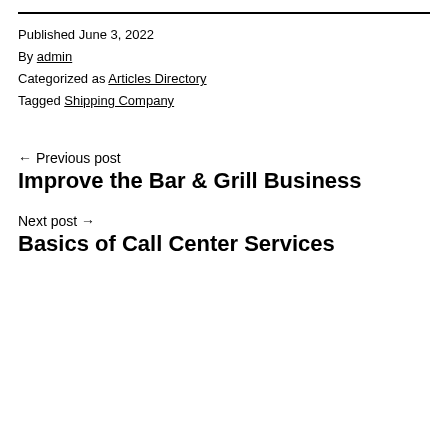Published June 3, 2022
By admin
Categorized as Articles Directory
Tagged Shipping Company
← Previous post
Improve the Bar & Grill Business
Next post →
Basics of Call Center Services